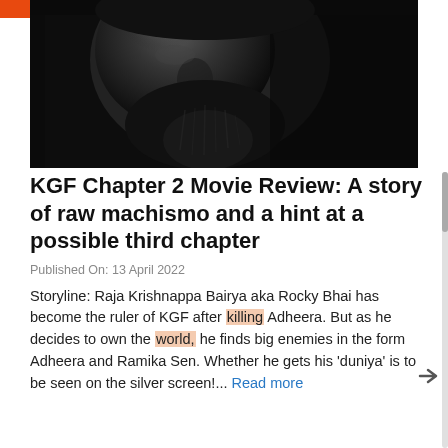[Figure (photo): Close-up black and white photo of a bearded man's face in shadow, dramatic lighting, appears to be a movie promotional image for KGF Chapter 2]
KGF Chapter 2 Movie Review: A story of raw machismo and a hint at a possible third chapter
Published On: 13 April 2022
Storyline: Raja Krishnappa Bairya aka Rocky Bhai has become the ruler of KGF after killing Adheera. But as he decides to own the world, he finds big enemies in the form Adheera and Ramika Sen. Whether he gets his 'duniya' is to be seen on the silver screen!... Read more